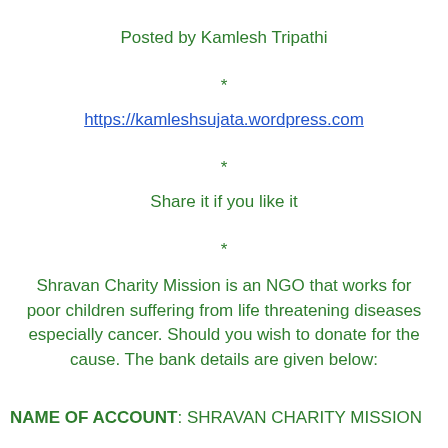Posted by Kamlesh Tripathi
*
https://kamleshsujata.wordpress.com
*
Share it if you like it
*
Shravan Charity Mission is an NGO that works for poor children suffering from life threatening diseases especially cancer. Should you wish to donate for the cause. The bank details are given below:
NAME OF ACCOUNT: SHRAVAN CHARITY MISSION